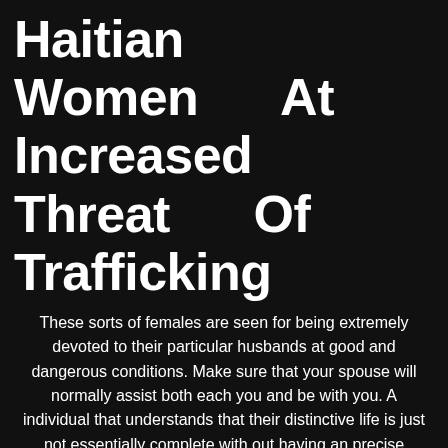Haitian Women At Increased Threat Of Trafficking
These sorts of females are seen for being extremely devoted to their particular husbands at good and dangerous conditions. Make sure that your spouse will normally assist both each you and be with you. A individual that understands that their distinctive life is just not essentially complete with out having an precise individual should do their haitian dating sites own greatest to find an exquisite associate. A primary goal for each each Haitian lady is to match her future husband, build a sturdy lengthy-lasting relationship and make a household. They dislike short-time flings, these wedding marriage ceremony brides choose a big, lengthy-time